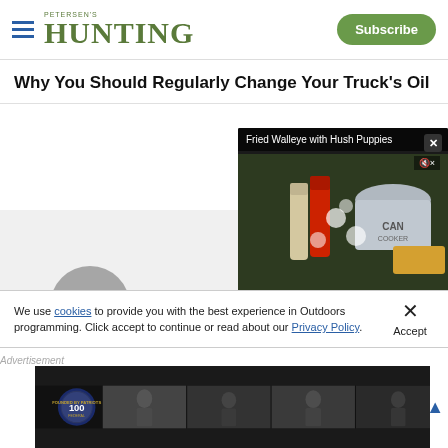Petersen's HUNTING — Subscribe
Why You Should Regularly Change Your Truck's Oil
[Figure (screenshot): Video player showing 'Fried Walleye with Hush Puppies' with cooking ingredients including condiment bottles and a CAN COOKER pot. Controls show 00:00 / 05:40. Close button (X) in top right.]
[Figure (photo): Gray content area below article title, partially visible.]
We use cookies to provide you with the best experience in Outdoors programming. Click accept to continue or read about our Privacy Policy.
Advertisement
[Figure (photo): Federal 100 anniversary advertisement banner with black and white photographs of people.]